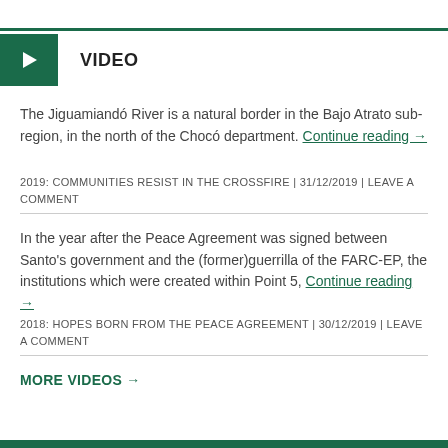VIDEO
The Jiguamiandó River is a natural border in the Bajo Atrato sub-region, in the north of the Chocó department. Continue reading →
2019: COMMUNITIES RESIST IN THE CROSSFIRE | 31/12/2019 | LEAVE A COMMENT
In the year after the Peace Agreement was signed between Santo's government and the (former)guerrilla of the FARC-EP, the institutions which were created within Point 5, Continue reading →
2018: HOPES BORN FROM THE PEACE AGREEMENT | 30/12/2019 | LEAVE A COMMENT
MORE VIDEOS →